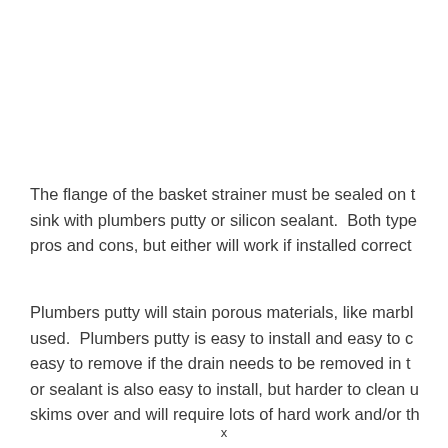The flange of the basket strainer must be sealed on the sink with plumbers putty or silicon sealant.  Both types have pros and cons, but either will work if installed correctly.
Plumbers putty will stain porous materials, like marble, if used.  Plumbers putty is easy to install and easy to clean, easy to remove if the drain needs to be removed in the future. Silicon or sealant is also easy to install, but harder to clean up once it skims over and will require lots of hard work and/or th...
x